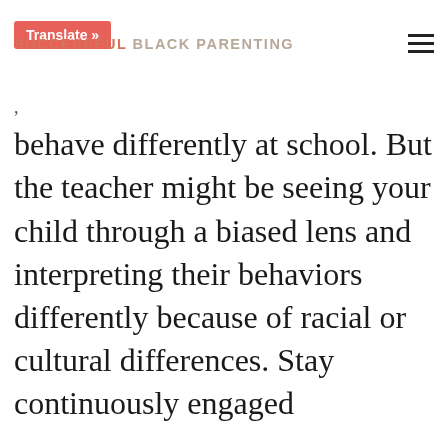Translate » SUCCESSFUL BLACK PARENTING
behave differently at school. But the teacher might be seeing your child through a biased lens and interpreting their behaviors differently because of racial or cultural differences. Stay continuously engaged